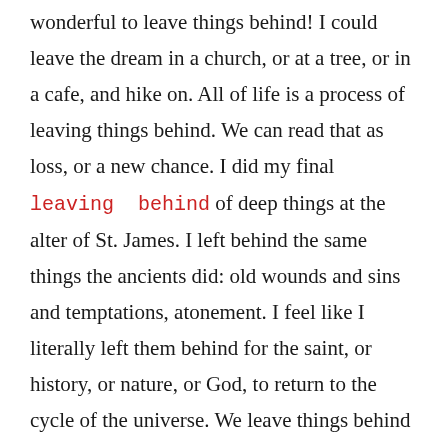wonderful to leave things behind! I could leave the dream in a church, or at a tree, or in a cafe, and hike on. All of life is a process of leaving things behind. We can read that as loss, or a new chance. I did my final leaving behind of deep things at the alter of St. James. I left behind the same things the ancients did: old wounds and sins and temptations, atonement. I feel like I literally left them behind for the saint, or history, or nature, or God, to return to the cycle of the universe. We leave things behind and face the new day freer.
By the way, after I started this post, I